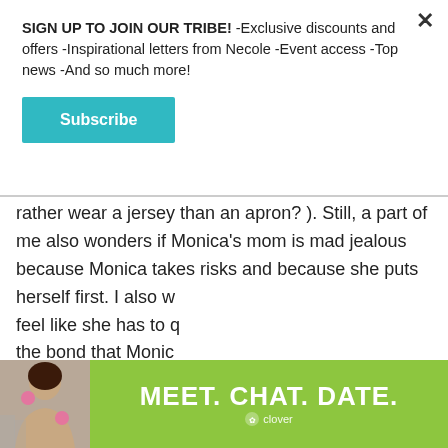SIGN UP TO JOIN OUR TRIBE! -Exclusive discounts and offers -Inspirational letters from Necole -Event access -Top news -And so much more!
Subscribe
rather wear a jersey than an apron? ). Still, a part of me also wonders if Monica's mom is mad jealous because Monica takes risks and because she puts herself first. I also w feel like she has to q the bond that Monic complicated, y'all.
[Figure (photo): Advertisement banner with woman photo and text MEET. CHAT. DATE. with Clover app branding on green background]